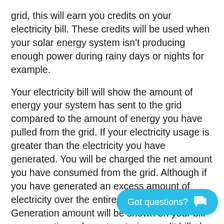grid, this will earn you credits on your electricity bill. These credits will be used when your solar energy system isn't producing enough power during rainy days or nights for example.
Your electricity bill will show the amount of energy your system has sent to the grid compared to the amount of energy you have pulled from the grid. If your electricity usage is greater than the electricity you have generated. You will be charged the net amount you have consumed from the grid. Although if you have generated an excess amount of electricity over the entire month, the Excess Generation amount will be shown on your bill as a negative solar net metering credit billed a net metering distribution charge